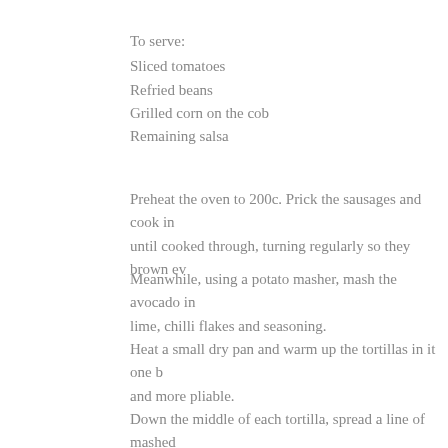To serve:
Sliced tomatoes
Refried beans
Grilled corn on the cob
Remaining salsa
Preheat the oven to 200c. Prick the sausages and cook in until cooked through, turning regularly so they brown ev
Meanwhile, using a potato masher, mash the avocado in lime, chilli flakes and seasoning.
Heat a small dry pan and warm up the tortillas in it one b and more pliable.
Down the middle of each tortilla, spread a line of mashed teaspoon of salsa. Place the sausages on top, sprinkle ov taco shape and secure with cocktail sticks.
Place the taco hot dogs on a clean baking tray and return